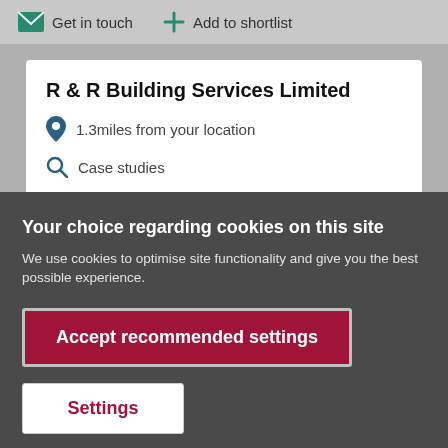Get in touch   Add to shortlist
R & R Building Services Limited
1.3miles from your location
Case studies
Your choice regarding cookies on this site
We use cookies to optimise site functionality and give you the best possible experience.
Accept recommended settings
Settings